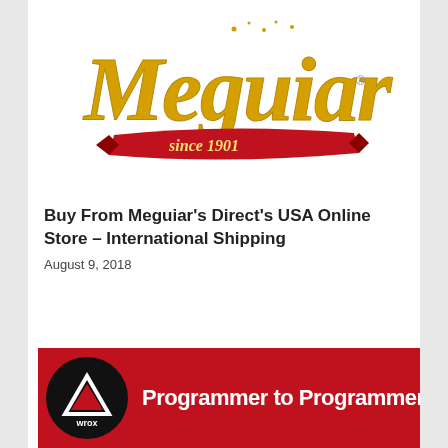[Figure (logo): Meguiar's logo — gold script lettering on white background with red ribbon banner reading 'since 1901']
Buy From Meguiar’s Direct’s USA Online Store – International Shipping
August 9, 2018
[Figure (logo): Wrox 'Programmer to Programmer' banner — red background with black circle containing white triangle logo and 'wrox A Wiley Brand' text, followed by 'Programmer to Programmer™' in white]